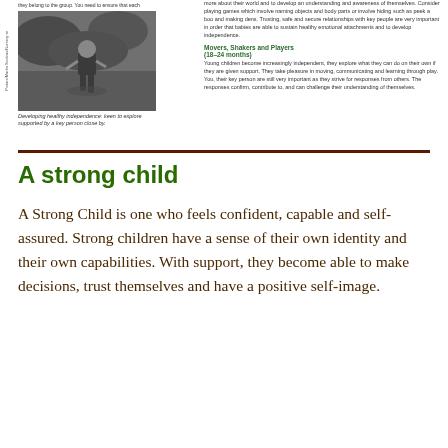[Figure (photo): Black and white photo of a toddler walking outdoors on grass/ground, exploring independently]
Developing healthy independence: keen to explore supported by a key person close by.
they belong to the group. You need to ensure that each
more about their world and to develop an understanding and awareness of themselves. Consider playing games which involve naming objects and body parts or involve hiding such as peek a boo and making dens. Trusting, safe and secure relationships with key people are very important in order that babies are able to sustain healthy emotional attachments and to develop independence.
Movers, Shakers and Players (18–24 months)
Young children become increasingly independent, they explore what they can do on their own if they are given support. They take pleasure in moving, communicating and learning through play. You, their key person are still very important as they strive for responses from others. The responses confirm, contribute to, and can challenge their understanding of themselves.
A strong child
A Strong Child is one who feels confident, capable and self-assured. Strong children have a sense of their own identity and their own capabilities. With support, they become able to make decisions, trust themselves and have a positive self-image.